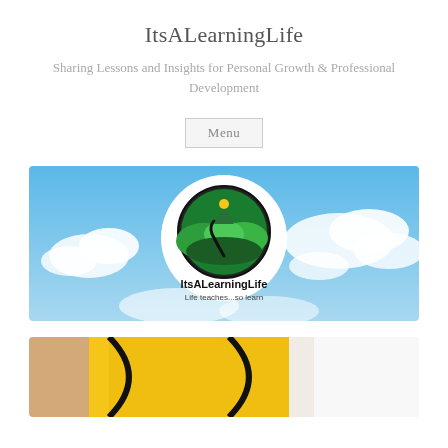ItsALearningLife
Sharing Lessons and Insights for Personal Growth & Professional Development
Menu
[Figure (logo): ItsALearningLife banner with sky background, white circle containing a circular logo of green hills and a winding road, with text ItsALearningLife and tagline Life teaches...so learn]
[Figure (photo): Partial image showing a yellow and orange graphic element against a light background, cropped at bottom of page]